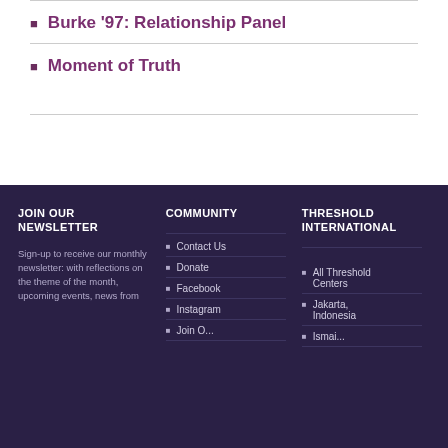Burke '97: Relationship Panel
Moment of Truth
JOIN OUR NEWSLETTER
Sign-up to receive our monthly newsletter: with reflections on the theme of the month, upcoming events, news from
COMMUNITY
Contact Us
Donate
Facebook
Instagram
THRESHOLD INTERNATIONAL
All Threshold Centers
Jakarta, Indonesia